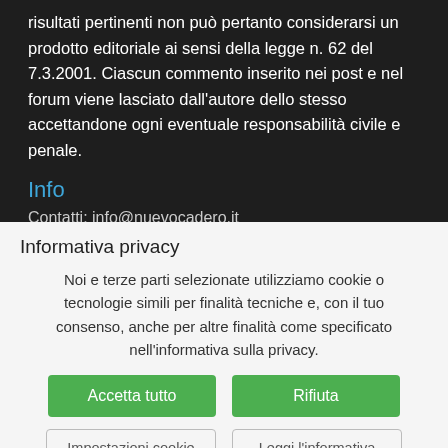risultati pertinenti non può pertanto considerarsi un prodotto editoriale ai sensi della legge n. 62 del 7.3.2001. Ciascun commento inserito nei post e nel forum viene lasciato dall'autore dello stesso accettandone ogni eventuale responsabilità civile e penale.
Info
Contatti: info@nuevocadero.it
Informativa privacy
Noi e terze parti selezionate utilizziamo cookie o tecnologie simili per finalità tecniche e, con il tuo consenso, anche per altre finalità come specificato nell'informativa sulla privacy.
Accetta tutto
Rifiuta
Impostazioni cookie
Leggi l'informativa